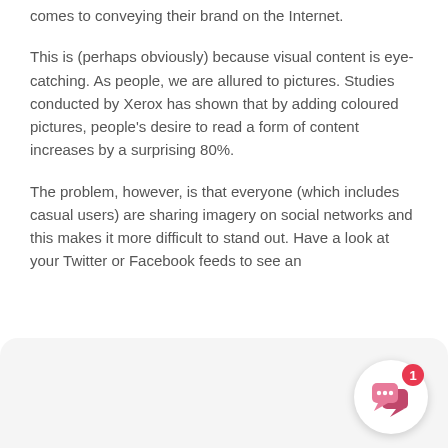comes to conveying their brand on the Internet.
This is (perhaps obviously) because visual content is eye-catching. As people, we are allured to pictures. Studies conducted by Xerox has shown that by adding coloured pictures, people's desire to read a form of content increases by a surprising 80%.
The problem, however, is that everyone (which includes casual users) are sharing imagery on social networks and this makes it more difficult to stand out. Have a look at your Twitter or Facebook feeds to see an
[Figure (illustration): Chat widget button with pink speech bubble icons and a red notification badge showing the number 1]